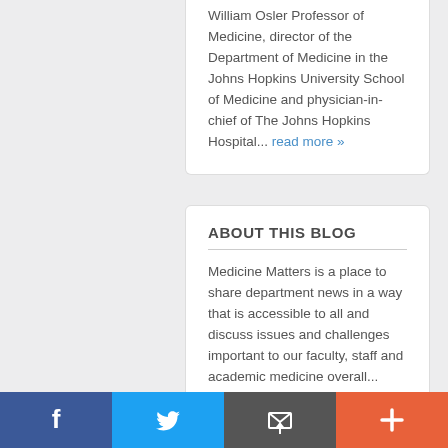William Osler Professor of Medicine, director of the Department of Medicine in the Johns Hopkins University School of Medicine and physician-in-chief of The Johns Hopkins Hospital... read more »
ABOUT THIS BLOG
Medicine Matters is a place to share department news in a way that is accessible to all and discuss issues and challenges important to our faculty, staff and academic medicine overall... read more »